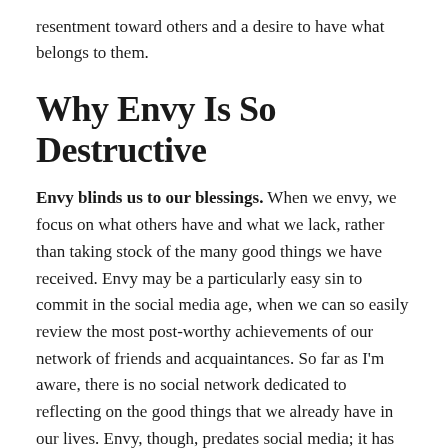resentment toward others and a desire to have what belongs to them.
Why Envy Is So Destructive
Envy blinds us to our blessings. When we envy, we focus on what others have and what we lack, rather than taking stock of the many good things we have received. Envy may be a particularly easy sin to commit in the social media age, when we can so easily review the most post-worthy achievements of our network of friends and acquaintances. So far as I'm aware, there is no social network dedicated to reflecting on the good things that we already have in our lives. Envy, though, predates social media; it has always been more tempting to covet the possessions of others than to give thanks for our own. Continue reading →
Share this: